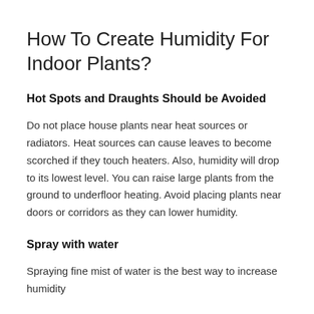How To Create Humidity For Indoor Plants?
Hot Spots and Draughts Should be Avoided
Do not place house plants near heat sources or radiators. Heat sources can cause leaves to become scorched if they touch heaters. Also, humidity will drop to its lowest level. You can raise large plants from the ground to underfloor heating. Avoid placing plants near doors or corridors as they can lower humidity.
Spray with water
Spraying fine mist of water is the best way to increase humidity